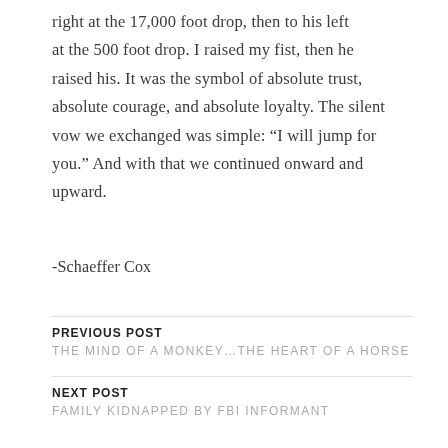right at the 17,000 foot drop, then to his left at the 500 foot drop. I raised my fist, then he raised his. It was the symbol of absolute trust, absolute courage, and absolute loyalty. The silent vow we exchanged was simple: “I will jump for you.” And with that we continued onward and upward.
-Schaeffer Cox
PREVIOUS POST
THE MIND OF A MONKEY…THE HEART OF A HORSE
NEXT POST
FAMILY KIDNAPPED BY FBI INFORMANT